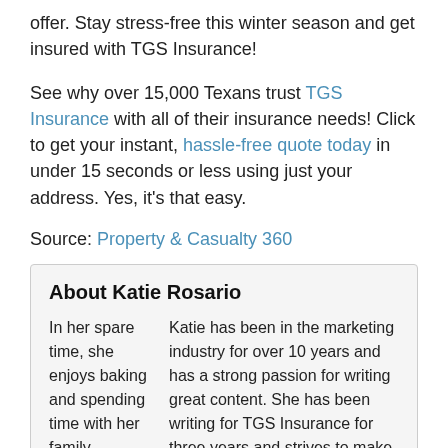offer. Stay stress-free this winter season and get insured with TGS Insurance!
See why over 15,000 Texans trust TGS Insurance with all of their insurance needs! Click to get your instant, hassle-free quote today in under 15 seconds or less using just your address. Yes, it's that easy.
Source: Property & Casualty 360
About Katie Rosario
Katie has been in the marketing industry for over 10 years and has a strong passion for writing great content. She has been writing for TGS Insurance for three years and strives to make every piece of content she works on informative and easy to read. In her spare time, she enjoys baking and spending time with her family.
View all posts by Katie Rosario